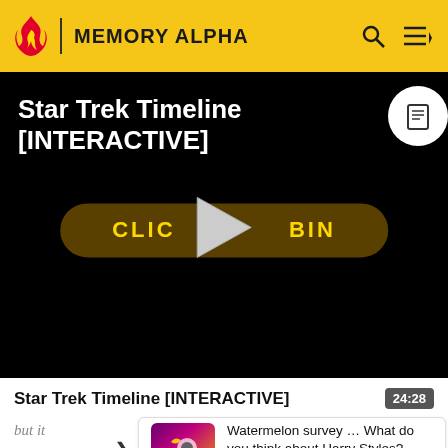MEMORY ALPHA
[Figure (screenshot): Video player with black background showing 'Star Trek Timeline [INTERACTIVE]' title, a golden 'CLICK TO BEGIN' button with a play triangle overlay, and a white circular badge with a document icon in the top right corner.]
Star Trek Timeline [INTERACTIVE]
24:28
but it... ize his d... AOL chat,
Watermelon survey … What do you think about Harry Styles? TAKE THE SURVEY HERE